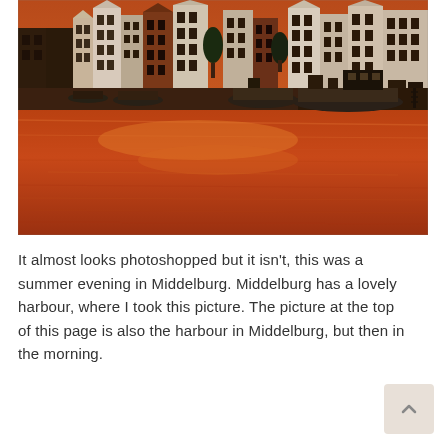[Figure (photo): Photograph of Middelburg harbour at sunset/evening. The water reflects a deep orange-red color from the sunset sky. Historic Dutch buildings line the far bank — white and brick facades with stepped gable roofs. Several boats and small vessels are moored along the right bank. Trees are visible among the buildings.]
It almost looks photoshopped but it isn't, this was a summer evening in Middelburg. Middelburg has a lovely harbour, where I took this picture. The picture at the top of this page is also the harbour in Middelburg, but then in the morning.